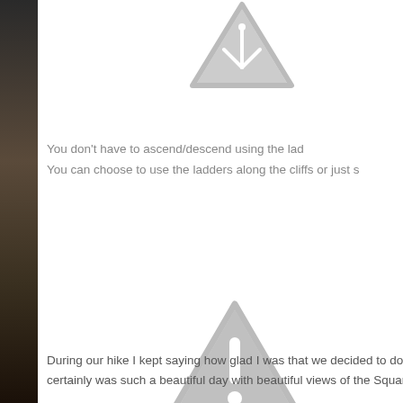[Figure (illustration): Gray warning triangle icon with a road/ladder symbol at the top of the page]
You don't have to ascend/descend using the lad
You can choose to use the ladders along the cliffs or just s
[Figure (illustration): Gray warning triangle icon with exclamation mark in the lower middle of the page]
During our hike I kept saying how glad I was that we decided to do this
certainly was such a beautiful day with beautiful views of the Squam La